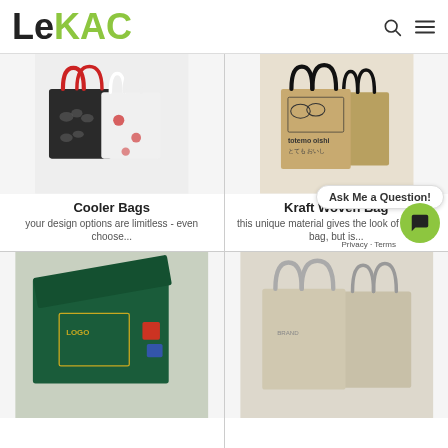[Figure (logo): LeKAC logo with 'Le' in black and 'KAC' in lime green, with search and menu icons on the right]
[Figure (photo): Two custom printed cooler bags — one dark/black with red handles and cloud print, one white with red floral print]
Cooler Bags
your design options are limitless - even choose...
[Figure (photo): Three kraft woven bags with black handles displaying 'totemo oishi' text and Japanese characters with sushi roll illustrations]
Kraft Woven Bag
this unique material gives the look of a paper bag, but is...
Ask Me a Question!
[Figure (photo): Dark green box/bag with gold logo print, partially open showing interior]
[Figure (photo): Light beige/natural canvas tote bags with straps]
Privacy · Terms